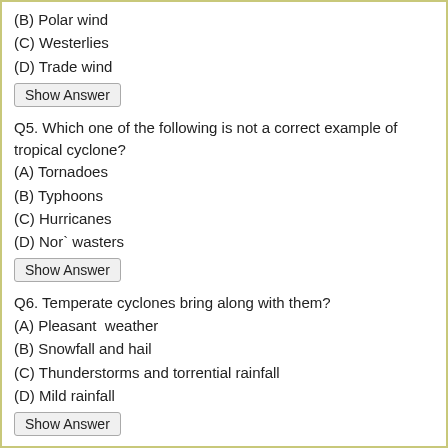(B) Polar wind
(C) Westerlies
(D) Trade wind
Show Answer
Q5. Which one of the following is not a correct example of tropical cyclone?
(A) Tornadoes
(B) Typhoons
(C) Hurricanes
(D) Nor` wasters
Show Answer
Q6. Temperate cyclones bring along with them?
(A) Pleasant  weather
(B) Snowfall and hail
(C) Thunderstorms and torrential rainfall
(D) Mild rainfall
Show Answer
Q7. Winds blow?
(A) In region of low pressure